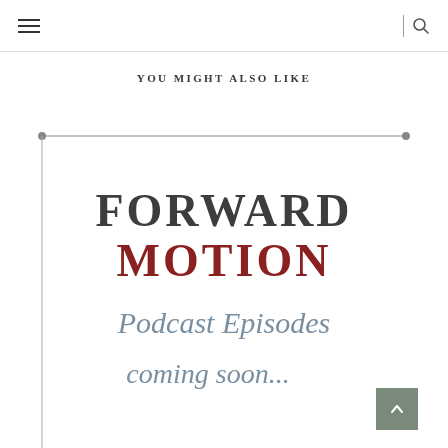navigation header with hamburger menu and search icon
YOU MIGHT ALSO LIKE
[Figure (illustration): Forward Motion Podcast Episodes coming soon... promotional image with decorative border lines, serif and script typography. 'FORWARD' in dark gray serif, 'MOTION' in dark red serif, 'Podcast Episodes' and 'coming soon...' in blue-gray script. A scroll-to-top button overlay in sage green with an upward chevron.]